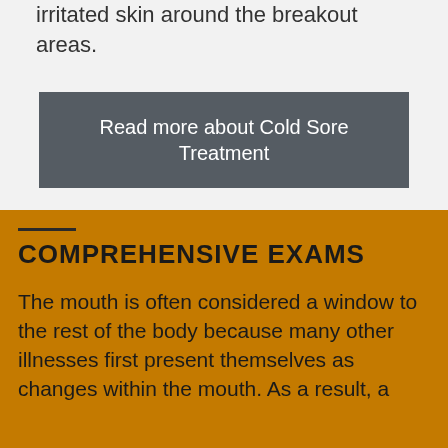irritated skin around the breakout areas.
Read more about Cold Sore Treatment
COMPREHENSIVE EXAMS
The mouth is often considered a window to the rest of the body because many other illnesses first present themselves as changes within the mouth. As a result, a